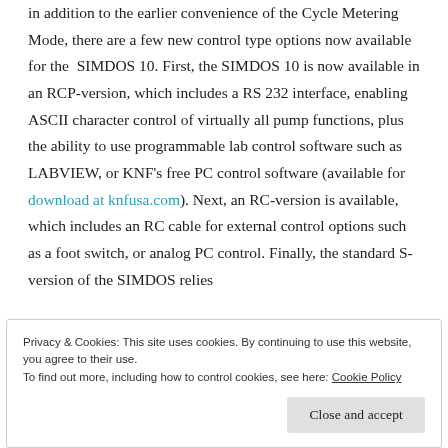in addition to the earlier convenience of the Cycle Metering Mode, there are a few new control type options now available for the SIMDOS 10. First, the SIMDOS 10 is now available in an RCP-version, which includes a RS 232 interface, enabling ASCII character control of virtually all pump functions, plus the ability to use programmable lab control software such as LABVIEW, or KNF's free PC control software (available for download at knfusa.com). Next, an RC-version is available, which includes an RC cable for external control options such as a foot switch, or analog PC control. Finally, the standard S-version of the SIMDOS relies
Privacy & Cookies: This site uses cookies. By continuing to use this website, you agree to their use.
To find out more, including how to control cookies, see here: Cookie Policy